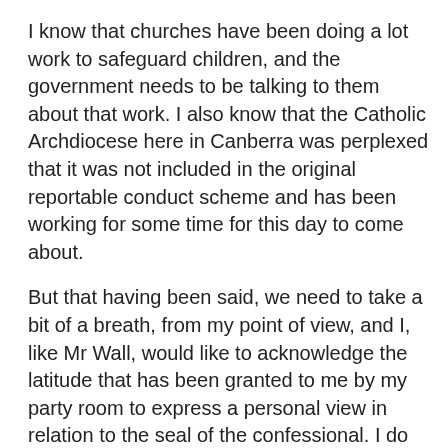I know that churches have been doing a lot work to safeguard children, and the government needs to be talking to them about that work. I also know that the Catholic Archdiocese here in Canberra was perplexed that it was not included in the original reportable conduct scheme and has been working for some time for this day to come about.
But that having been said, we need to take a bit of a breath, from my point of view, and I, like Mr Wall, would like to acknowledge the latitude that has been granted to me by my party room to express a personal view in relation to the seal of the confessional. I do not believe that the government has been up-front enough in consulting the Catholic Church, the Catholic archbishop and other groups in the community for whom the seal of the confessional is of particular importance.
I understand that the government is keen to implement the